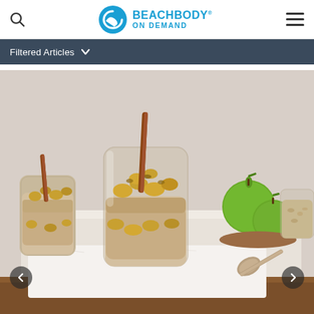[Figure (logo): Beachbody On Demand logo with circular blue icon and blue text reading BEACHBODY ON DEMAND]
Filtered Articles
[Figure (photo): Two glass jars filled with overnight oats topped with sauteed apple chunks and cinnamon sticks, set on a wooden tray and marble board. Green apples and a jar of dry oats in the background, along with a vintage spoon.]